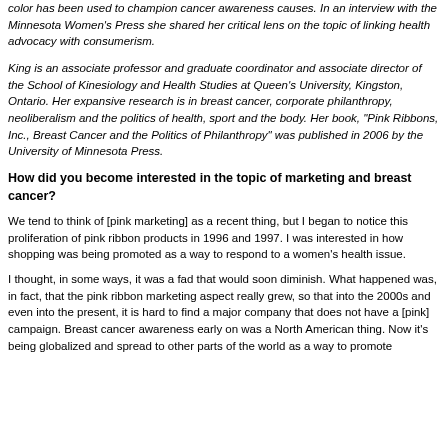color has been used to champion cancer awareness causes. In an interview with the Minnesota Women's Press she shared her critical lens on the topic of linking health advocacy with consumerism.
King is an associate professor and graduate coordinator and associate director of the School of Kinesiology and Health Studies at Queen's University, Kingston, Ontario. Her expansive research is in breast cancer, corporate philanthropy, neoliberalism and the politics of health, sport and the body. Her book, "Pink Ribbons, Inc., Breast Cancer and the Politics of Philanthropy" was published in 2006 by the University of Minnesota Press.
How did you become interested in the topic of marketing and breast cancer?
We tend to think of [pink marketing] as a recent thing, but I began to notice this proliferation of pink ribbon products in 1996 and 1997. I was interested in how shopping was being promoted as a way to respond to a women's health issue.
I thought, in some ways, it was a fad that would soon diminish. What happened was, in fact, that the pink ribbon marketing aspect really grew, so that into the 2000s and even into the present, it is hard to find a major company that does not have a [pink] campaign. Breast cancer awareness early on was a North American thing. Now it's being globalized and spread to other parts of the world as a way to promote